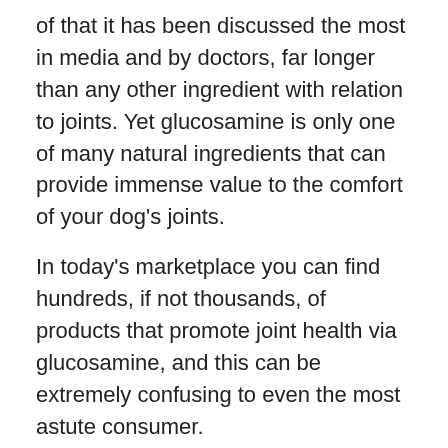of that it has been discussed the most in media and by doctors, far longer than any other ingredient with relation to joints. Yet glucosamine is only one of many natural ingredients that can provide immense value to the comfort of your dog's joints.
In today's marketplace you can find hundreds, if not thousands, of products that promote joint health via glucosamine, and this can be extremely confusing to even the most astute consumer.
Here is a list of some of the other major ingredient players in naturally improving joint health: Chondroitin sulphate, methylsulfonymethane (MSM), hyaluronic acid, avocado soybean unasponifides (ASU), vitamin C, manganese, Cetyl-Mysritoleate (CM), and Omega 3 Oils.
What You Need to Know #1: Combination joint